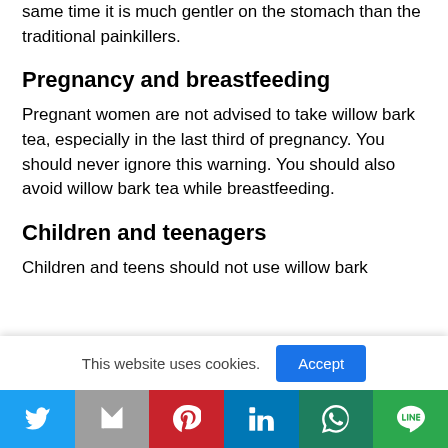same time it is much gentler on the stomach than the traditional painkillers.
Pregnancy and breastfeeding
Pregnant women are not advised to take willow bark tea, especially in the last third of pregnancy. You should never ignore this warning. You should also avoid willow bark tea while breastfeeding.
Children and teenagers
Children and teens should not use willow bark because of a rare but potentially fatal condition...